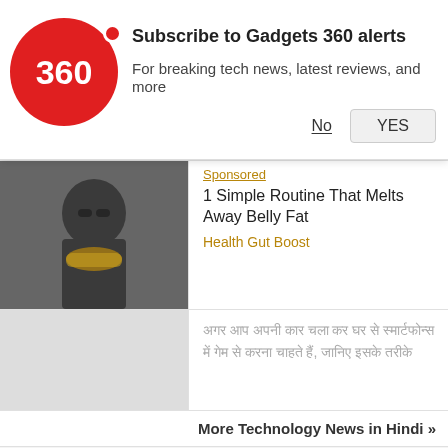[Figure (screenshot): Gadgets 360 notification banner with red circular logo showing '360', subscribe prompt text, and No/YES buttons]
Subscribe to Gadgets 360 alerts
For breaking tech news, latest reviews, and more
No
YES
[Figure (photo): Sponsored ad image: man holding a bowl of food]
Sponsored
1 Simple Routine That Melts Away Belly Fat
Health Gut Boost
अगर आप अपनी कार चला कर घर से स्मार्टफोन्स में गेम से करना चाहते हैं, जानिए इसके तरीके
More Technology News in Hindi »
[Figure (photo): Bottom image showing person wearing a beige/khaki uniform cap, NDTV badge in top left corner, scroll-to-top button at bottom right]